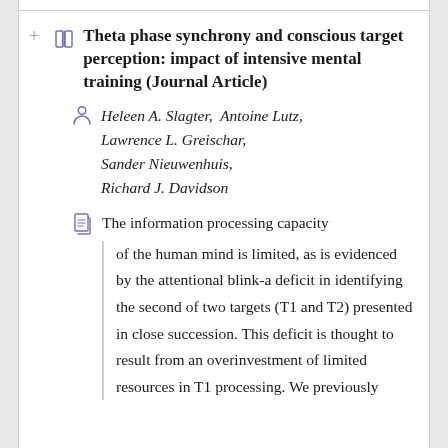Theta phase synchrony and conscious target perception: impact of intensive mental training (Journal Article)
Heleen A. Slagter,  Antoine Lutz,  Lawrence L. Greischar,  Sander Nieuwenhuis,  Richard J. Davidson
The information processing capacity of the human mind is limited, as is evidenced by the attentional blink-a deficit in identifying the second of two targets (T1 and T2) presented in close succession. This deficit is thought to result from an overinvestment of limited resources in T1 processing. We previously